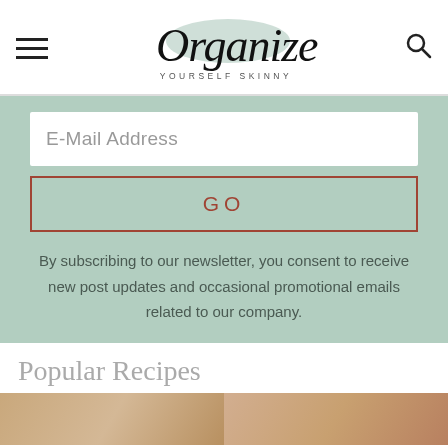Organize Yourself Skinny
E-Mail Address
GO
By subscribing to our newsletter, you consent to receive new post updates and occasional promotional emails related to our company.
Popular Recipes
[Figure (photo): Two food photos partially visible at the bottom of the page]